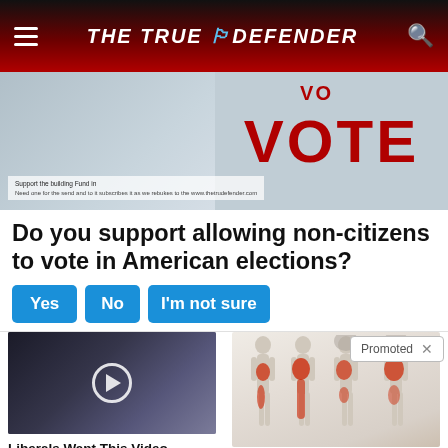THE TRUE DEFENDER
[Figure (photo): Voting booth/polling station image with large red VOTE text visible on background]
Do you support allowing non-citizens to vote in American elections?
[Figure (photo): Video thumbnail showing political figures, with play button overlay]
Liberals Want This Video Destroyed — Watch Now Before It's Gone
🔥 45,624
[Figure (illustration): Medical illustration showing body silhouettes with sciatic nerve pain areas highlighted in red]
Suffering From Chronic Sciatic Nerve Pain? Here's A Secret You Need To Know
🔥 88,702